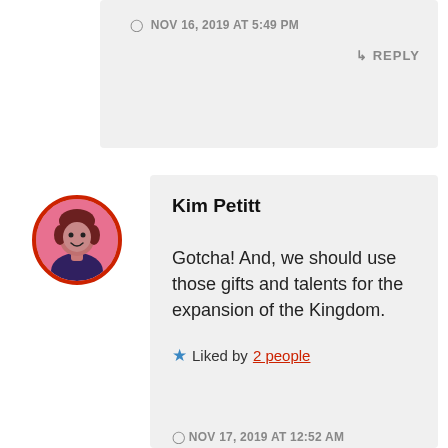NOV 16, 2019 AT 5:49 PM
REPLY
Kim Petitt
Gotcha! And, we should use those gifts and talents for the expansion of the Kingdom.
Liked by 2 people
NOV 17, 2019 AT 12:52 AM